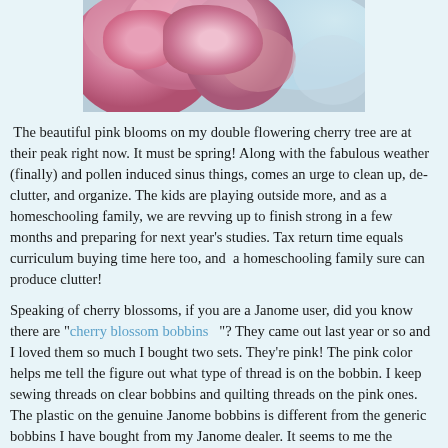[Figure (photo): Close-up photograph of pink double flowering cherry tree blossoms]
The beautiful pink blooms on my double flowering cherry tree are at their peak right now. It must be spring! Along with the fabulous weather (finally) and pollen induced sinus things, comes an urge to clean up, de-clutter, and organize. The kids are playing outside more, and as a homeschooling family, we are revving up to finish strong in a few months and preparing for next year's studies. Tax return time equals curriculum buying time here too, and a homeschooling family sure can produce clutter!
Speaking of cherry blossoms, if you are a Janome user, did you know there are "cherry blossom bobbins"? They came out last year or so and I loved them so much I bought two sets. They're pink! The pink color helps me tell the figure out what type of thread is on the bobbin. I keep sewing threads on clear bobbins and quilting threads on the pink ones. The plastic on the genuine Janome bobbins is different from the generic bobbins I have bought from my Janome dealer. It seems to me the Janome bobbins